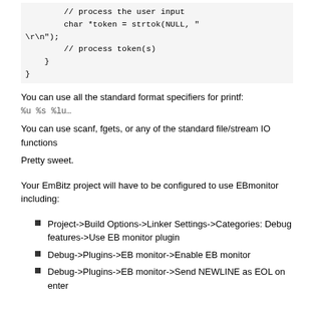// process the user input
        char *token = strtok(NULL, "\r\n");
        // process token(s)
    }
}
You can use all the standard format specifiers for printf: %u %s %lu…
You can use scanf, fgets, or any of the standard file/stream IO functions
Pretty sweet.
Your EmBitz project will have to be configured to use EBmonitor including:
Project->Build Options->Linker Settings->Categories: Debug features->Use EB monitor plugin
Debug->Plugins->EB monitor->Enable EB monitor
Debug->Plugins->EB monitor->Send NEWLINE as EOL on enter